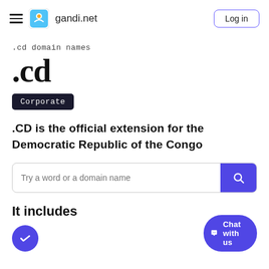gandi.net — Log in
.cd domain names
.cd
Corporate
.CD is the official extension for the Democratic Republic of the Congo
Try a word or a domain name
It includes
Chat with us